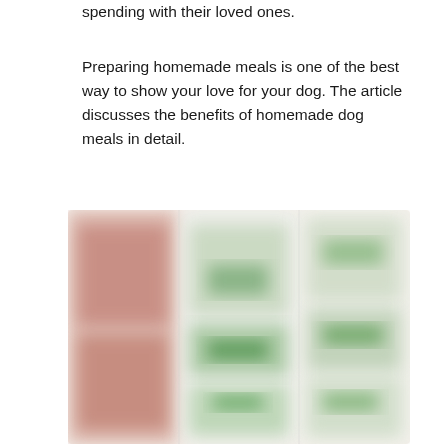spending with their loved ones.
Preparing homemade meals is one of the best way to show your love for your dog. The article discusses the benefits of homemade dog meals in detail.
[Figure (photo): Blurred image showing what appears to be bowls of homemade dog food or ingredients arranged in a grid layout with warm and green tones.]